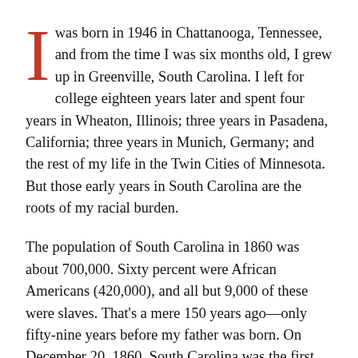I was born in 1946 in Chattanooga, Tennessee, and from the time I was six months old, I grew up in Greenville, South Carolina. I left for college eighteen years later and spent four years in Wheaton, Illinois; three years in Pasadena, California; three years in Munich, Germany; and the rest of my life in the Twin Cities of Minnesota. But those early years in South Carolina are the roots of my racial burden.
The population of South Carolina in 1860 was about 700,000. Sixty percent were African Americans (420,000), and all but 9,000 of these were slaves. That's a mere 150 years ago—only fifty-nine years before my father was born. On December 20, 1860, South Carolina was the first state to secede from the